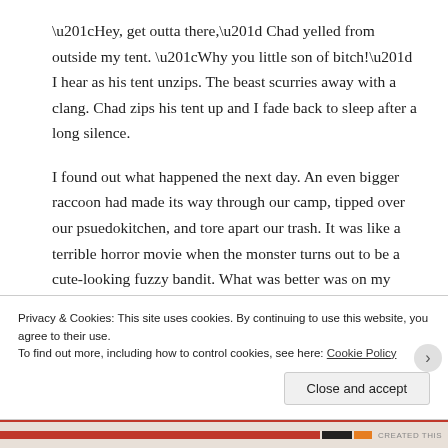“Hey, get outta there,” Chad yelled from outside my tent. “Why you little son of bitch!” I hear as his tent unzips. The beast scurries away with a clang. Chad zips his tent up and I fade back to sleep after a long silence.
I found out what happened the next day. An even bigger raccoon had made its way through our camp, tipped over our psuedokitchen, and tore apart our trash. It was like a terrible horror movie when the monster turns out to be a cute-looking fuzzy bandit. What was better was on my tent’s door I found....muddy claw prints....dun-dun-
Privacy & Cookies: This site uses cookies. By continuing to use this website, you agree to their use.
To find out more, including how to control cookies, see here: Cookie Policy